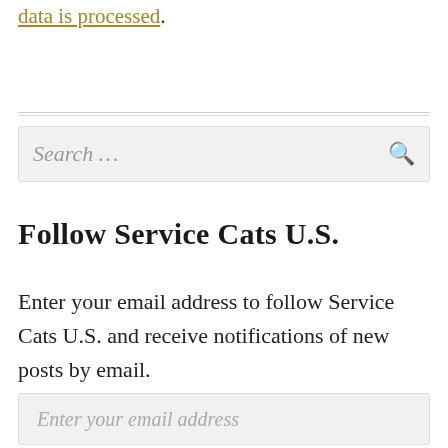data is processed.
Search …
Follow Service Cats U.S.
Enter your email address to follow Service Cats U.S. and receive notifications of new posts by email.
Enter your email address